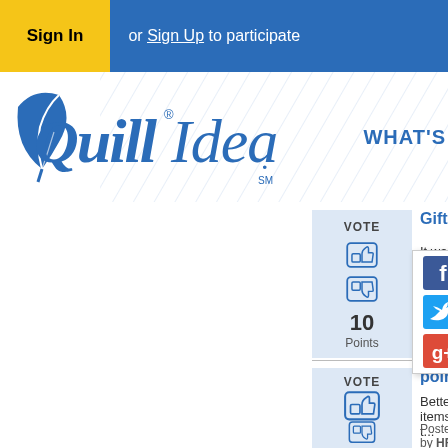Sign In or Sign Up to participate
[Figure (logo): Quill Ideas logo with diagonal line background and 'WHAT'S' text on right]
[Figure (other): Vote box with thumbs up and thumbs down icons, 10 Points]
Gift cards
[Figure (other): Social share popup with Facebook, Twitter, Google+ icons]
It was n... differen...
Posted
0 Comments
[Figure (other): Vote box with thumbs up and thumbs down icons for second idea]
point gifts
Better items t...
Posted by HR